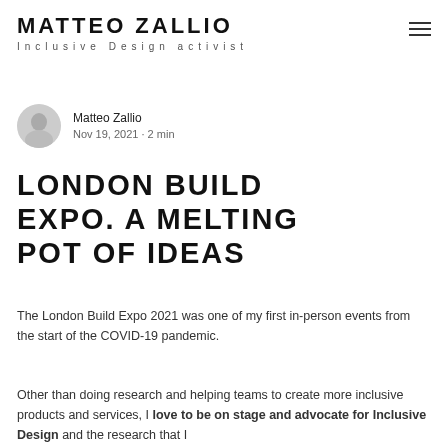MATTEO ZALLIO
Inclusive Design activist
[Figure (illustration): Circular avatar photo of Matteo Zallio]
Matteo Zallio
Nov 19, 2021 · 2 min
LONDON BUILD EXPO. A MELTING POT OF IDEAS
The London Build Expo 2021 was one of my first in-person events from the start of the COVID-19 pandemic.
Other than doing research and helping teams to create more inclusive products and services, I love to be on stage and advocate for Inclusive Design and the research that I